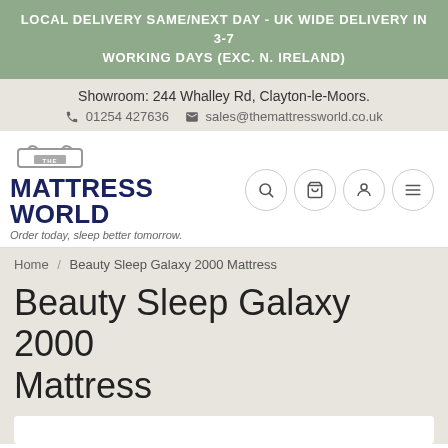LOCAL DELIVERY SAME/NEXT DAY - UK WIDE DELIVERY IN 3-7 WORKING DAYS (EXC. N. IRELAND)
Showroom: 244 Whalley Rd, Clayton-le-Moors.
01254 427636   sales@themattressworld.co.uk
[Figure (logo): The Mattress World logo with mattress icon and tagline 'Order today, sleep better tomorrow.']
Home / Beauty Sleep Galaxy 2000 Mattress
Beauty Sleep Galaxy 2000 Mattress